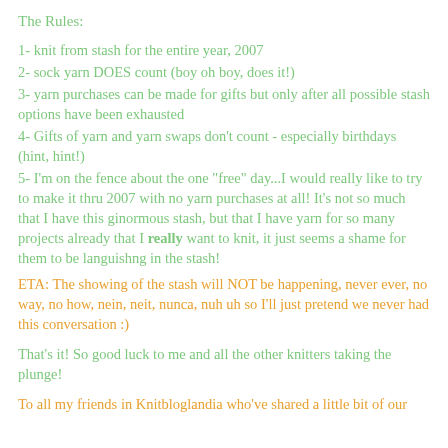The Rules:
1- knit from stash for the entire year, 2007
2- sock yarn DOES count (boy oh boy, does it!)
3- yarn purchases can be made for gifts but only after all possible stash options have been exhausted
4- Gifts of yarn and yarn swaps don't count - especially birthdays (hint, hint!)
5- I'm on the fence about the one "free" day...I would really like to try to make it thru 2007 with no yarn purchases at all! It's not so much that I have this ginormous stash, but that I have yarn for so many projects already that I really want to knit, it just seems a shame for them to be languishing in the stash!
ETA: The showing of the stash will NOT be happening, never ever, no way, no how, nein, neit, nunca, nuh uh so I'll just pretend we never had this conversation :)
That's it! So good luck to me and all the other knitters taking the plunge!
To all my friends in Knitbloglandia who've shared a little bit of our